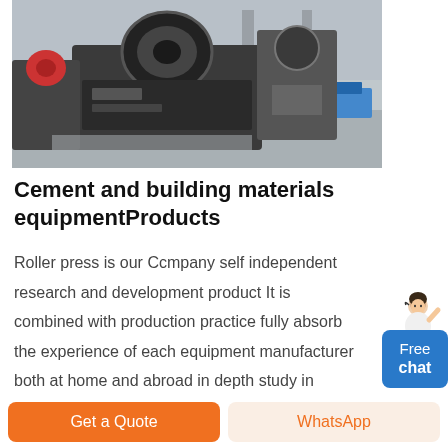[Figure (photo): Industrial machinery on a factory floor — large heavy roller press equipment with black metal frames, set in a spacious industrial facility with columns and blue containers in background.]
Cement and building materials equipmentProducts
Roller press is our Ccmpany self independent research and development product It is combined with production practice fully absorb the experience of each equipment manufacturer both at home and abroad in depth study in various aspects have carried on the comprehensive technological improvement use effect is good long life easy
[Figure (illustration): Small avatar of a woman in white clothing with headset, suggesting a customer service representative.]
Free chat
Get a Quote
WhatsApp